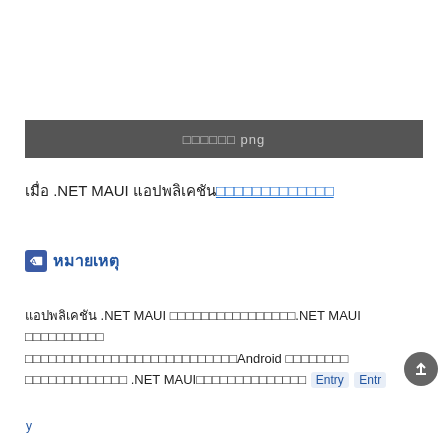[Figure (screenshot): Dark gray bar with light gray placeholder text and 'png' label]
เมื่อ .NET MAUI แอปพลิเคชันทำงาน [link]
หมายเหตุ
แอปพลิเคชัน .NET MAUI ที่ทำงานบนอุปกรณ์จริง.NET MAUI แอปพลิเคชันที่ทำงานบนอุปกรณ์จริงบางอย่างอาจมีข้อจำกัดในการทำงานบน Android อุปกรณ์บางรุ่น ดังนั้น .NET MAUIแอปพลิเคชันที่ทำงานบนอุปกรณ์จริง Entry Entry y